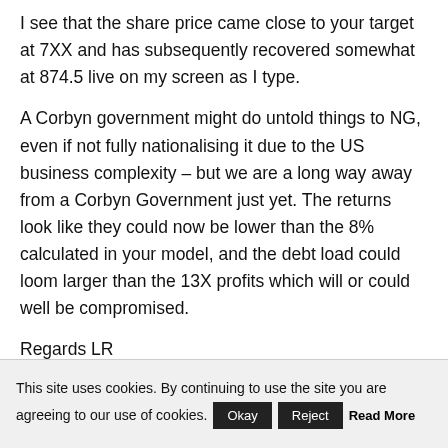I see that the share price came close to your target at 7XX and has subsequently recovered somewhat at 874.5 live on my screen as I type.
A Corbyn government might do untold things to NG, even if not fully nationalising it due to the US business complexity – but we are a long way away from a Corbyn Government just yet. The returns look like they could now be lower than the 8% calculated in your model, and the debt load could loom larger than the 13X profits which will or could well be compromised.
Regards LR
This site uses cookies. By continuing to use the site you are agreeing to our use of cookies. Okay Reject Read More